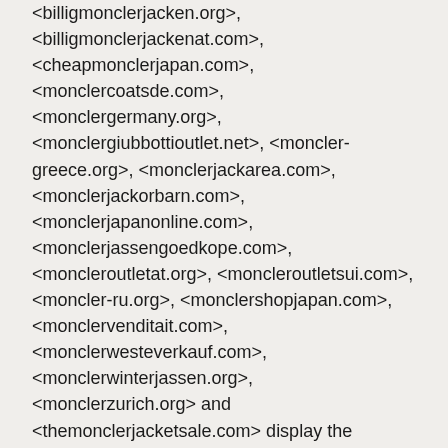<billigmonclerjacken.org>, <billigmonclerjackenat.com>, <cheapmonclerjapan.com>, <monclercoatsde.com>, <monclergermany.org>, <monclergiubbottioutlet.net>, <moncler-greece.org>, <monclerjackarea.com>, <monclerjackorbarn.com>, <monclerjapanonline.com>, <monclerjassengoedkope.com>, <moncleroutletat.org>, <moncleroutletsui.com>, <moncler-ru.org>, <monclershopjapan.com>, <monclervenditait.com>, <monclerwesteverkauf.com>, <monclerwinterjassen.org>, <monclerzurich.org> and <themonclerjacketsale.com> display the contents in English, amongst other languages. Furthermore, the Complainant has submitted the Complaint in English and would bear considerable costs to translate all the submissions into and take part in the proceeding in the language of the registration agreements, namely Chinese.
Having considered all the circumstances, this Panel determines under the Rules, paragraph 11(a) that English shall be the language of the proceeding.